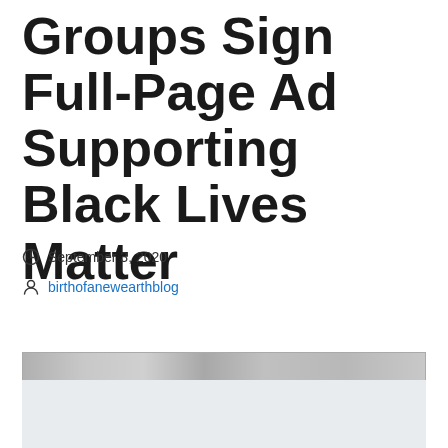Groups Sign Full-Page Ad Supporting Black Lives Matter
September 3, 2020
birthofanewearthblog
[Figure (photo): A partially visible image strip at the bottom of the article header, appearing to be a grayscale photo related to the article content.]